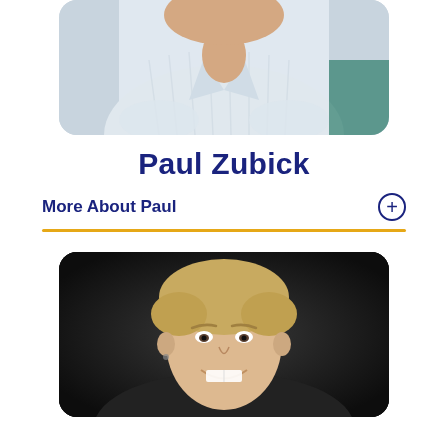[Figure (photo): Portrait photo of Paul Zubick, a person in a light striped shirt, cropped at the top of the page]
Paul Zubick
More About Paul
[Figure (photo): Portrait photo of a woman with short blonde hair, smiling, against a dark background]